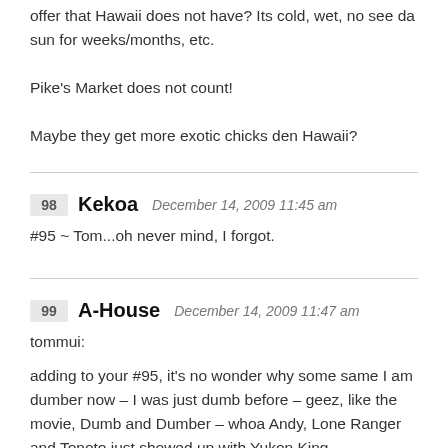offer that Hawaii does not have? Its cold, wet, no see da sun for weeks/months, etc.
Pike's Market does not count!
Maybe they get more exotic chicks den Hawaii?
98 Kekoa December 14, 2009 11:45 am
#95 ~ Tom...oh never mind, I forgot.
99 A-House December 14, 2009 11:47 am
tommui:
adding to your #95, it's no wonder why some same I am dumber now – I was just dumb before – geez, like the movie, Dumb and Dumber – whoa Andy, Lone Ranger and Tonoto just showed up with Yukon King